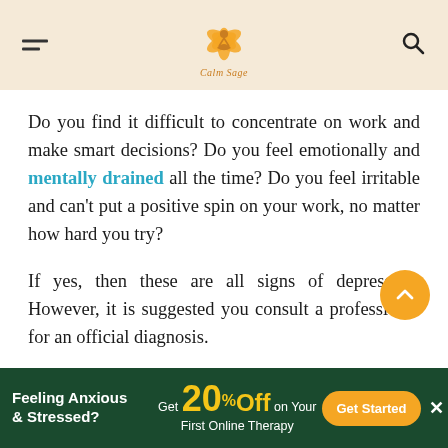Calm Sage
Do you find it difficult to concentrate on work and make smart decisions? Do you feel emotionally and mentally drained all the time? Do you feel irritable and can’t put a positive spin on your work, no matter how hard you try?
If yes, then these are all signs of depression. However, it is suggested you consult a professional for an official diagnosis.
Depression can cause you to lose interest in things you once enjoyed. Managing work while
[Figure (other): Advertisement banner: Feeling Anxious & Stressed? Get 20% Off on Your First Online Therapy. Get Started button.]